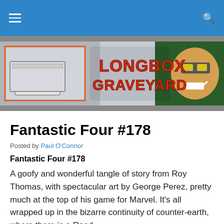Longbox Graveyard navigation bar
[Figure (illustration): Longbox Graveyard banner with comic book art showing storage boxes on the left and a smiling masked character on the right, with the text 'Longbox Graveyard' in orange/red stylized lettering in the center]
Fantastic Four #178
Posted by Paul O'Connor
Fantastic Four #178
A goofy and wonderful tangle of story from Roy Thomas, with spectacular art by George Perez, pretty much at the top of his game for Marvel. It's all wrapped up in the bizarre continuity of counter-earth, where there is a Reed